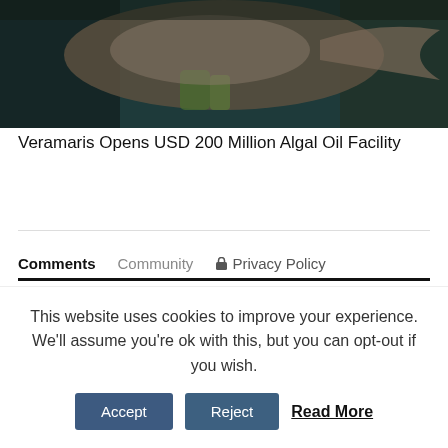[Figure (photo): Partial fish/aquatic animal photo cropped at top of page]
Veramaris Opens USD 200 Million Algal Oil Facility
Comments   Community   Privacy Policy
Login ▾
♡ Favorite   Sort by Best ▾
Start the discussion...
This website uses cookies to improve your experience. We'll assume you're ok with this, but you can opt-out if you wish.
Accept   Reject   Read More